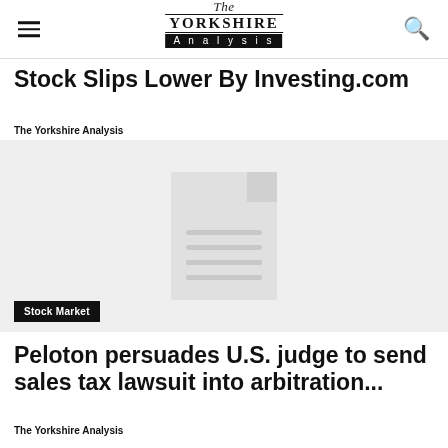The Yorkshire Analysis
Stock Slips Lower By Investing.com
The Yorkshire Analysis
[Figure (illustration): Placeholder document image on a light grey background with a Stock Market label tag in the bottom left corner]
Peloton persuades U.S. judge to send sales tax lawsuit into arbitration...
The Yorkshire Analysis